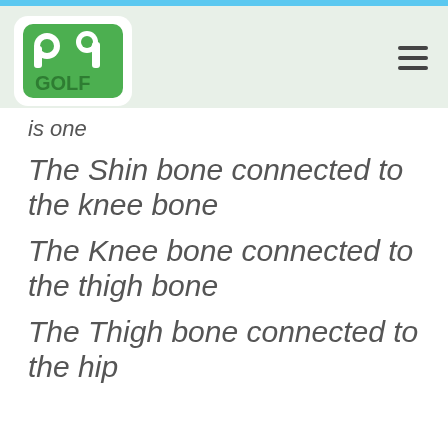PA GOLF
is one
The Shin bone connected to the knee bone
The Knee bone connected to the thigh bone
The Thigh bone connected to the hip